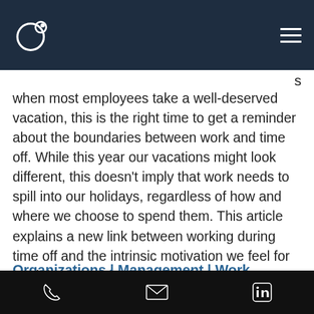when most employees take a well-deserved vacation, this is the right time to get a reminder about the boundaries between work and time off. While this year our vacations might look different, this doesn't imply that work needs to spill into our holidays, regardless of how and where we choose to spend them. This article explains a new link between working during time off and the intrinsic motivation we feel for our jobs. Read the full article here.
Organizations | Management | Work